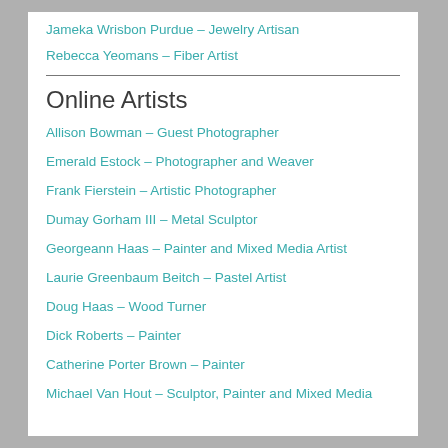Jameka Wrisbon Purdue – Jewelry Artisan
Rebecca Yeomans – Fiber Artist
Online Artists
Allison Bowman – Guest Photographer
Emerald Estock – Photographer and Weaver
Frank Fierstein – Artistic Photographer
Dumay Gorham III – Metal Sculptor
Georgeann Haas – Painter and Mixed Media Artist
Laurie Greenbaum Beitch – Pastel Artist
Doug Haas – Wood Turner
Dick Roberts – Painter
Catherine Porter Brown – Painter
Michael Van Hout – Sculptor, Painter and Mixed Media